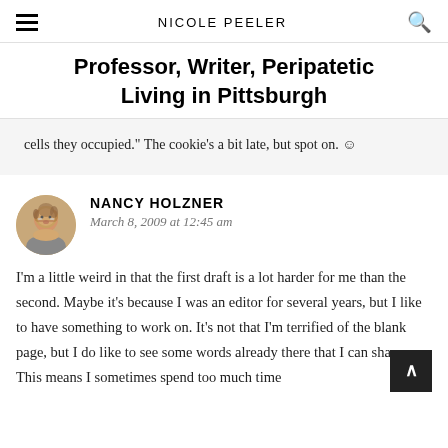NICOLE PEELER
Professor, Writer, Peripatetic Living in Pittsburgh
cells they occupied." The cookie's a bit late, but spot on. ☺
NANCY HOLZNER
March 8, 2009 at 12:45 am
I'm a little weird in that the first draft is a lot harder for me than the second. Maybe it's because I was an editor for several years, but I like to have something to work on. It's not that I'm terrified of the blank page, but I do like to see some words already there that I can shape. This means I sometimes spend too much time